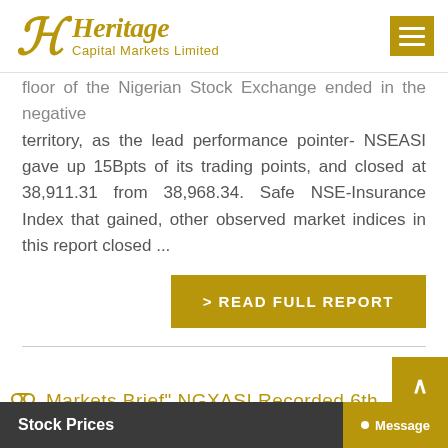[Figure (logo): Heritage Capital Markets Limited logo with gold stylized HC monogram and text]
floor of the Nigerian Stock Exchange ended in the negative territory, as the lead performance pointer- NSEASI gave up 15Bpts of its trading points, and closed at 38,911.31 from 38,968.34. Safe NSE-Insurance Index that gained, other observed market indices in this report closed ...
> READ FULL REPORT
Markets Brief" NGXASI Recorded 6th
Stock Prices  Message